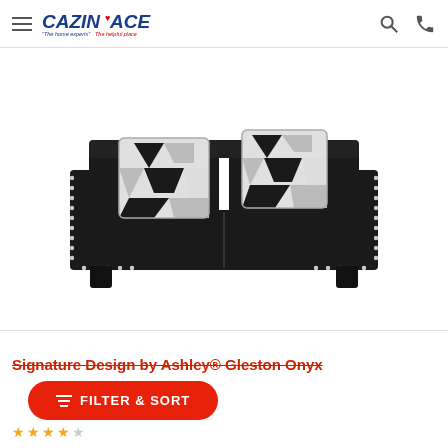Cazin's ACE - The helpful place
[Figure (photo): Black loveseat sofa with black and white geometric patterned throw pillows and nailhead trim along the arms]
Signature Design by Ashley® Gleston Onyx
FILTER & SORT